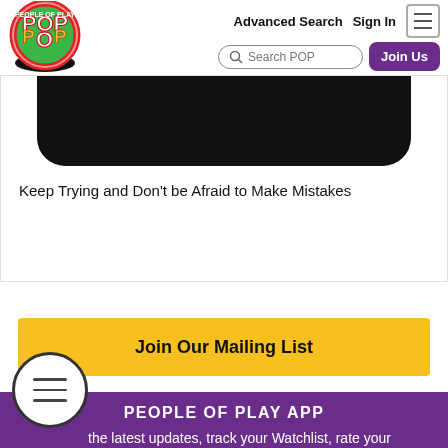Advanced Search  Sign In  [hamburger]  Search POP  Join Us
[Figure (screenshot): Black rounded bar at top of card, resembling a cropped image bottom]
Keep Trying and Don't be Afraid to Make Mistakes
Join Our Mailing List
PEOPLE OF PLAY APP
the latest updates, track your Watchlist, rate your favorite toys, games, and innovators, and more all on